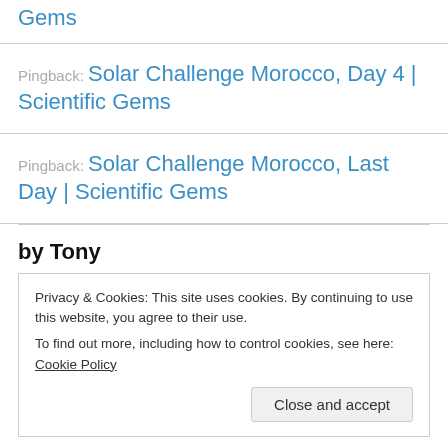Gems
Pingback: Solar Challenge Morocco, Day 4 | Scientific Gems
Pingback: Solar Challenge Morocco, Last Day | Scientific Gems
by Tony
Privacy & Cookies: This site uses cookies. By continuing to use this website, you agree to their use.
To find out more, including how to control cookies, see here: Cookie Policy
Close and accept
Enter your email address to follow this blog and be notified by email of